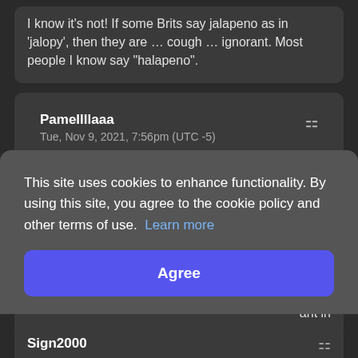I know it's not! If some Brits say jalapeno as in 'jalopy', then they are … cough … ignorant. Most people I know say "halapeno".
Pamellllaaa
Tue, Nov 9, 2021, 7:56pm (UTC -5)

@ Tidd

Excellent! I lived in London for 7 years and heard many "jalopy" jalapenos, even from some chefs.
on't
ne
ant in
d
hen I
This site uses cookies to enhance functionality. By using this site, you agree to the cookie policy and other terms of use.  Learn more
Agree
Sign2000